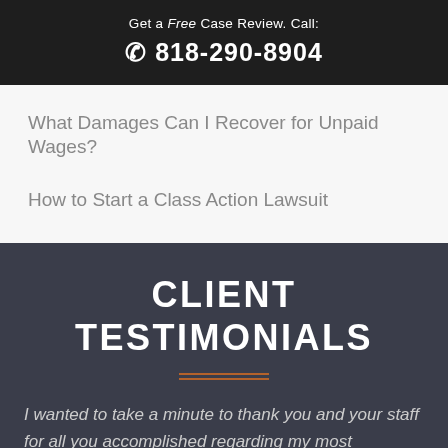Get a Free Case Review. Call: 818-290-8904
What Damages Can I Recover for Unpaid Wages?
How to Start a Class Action Lawsuit
CLIENT TESTIMONIALS
I wanted to take a minute to thank you and your staff for all you accomplished regarding my most